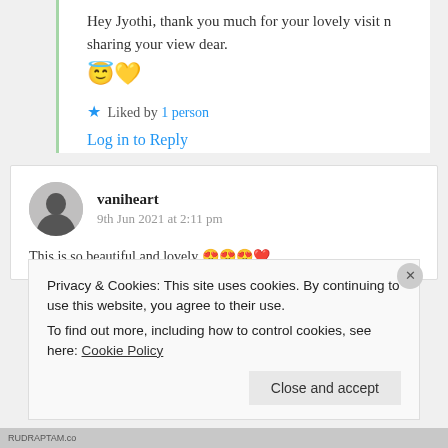Hey Jyothi, thank you much for your lovely visit n sharing your view dear. 😇💛
Liked by 1 person
Log in to Reply
vaniheart
9th Jun 2021 at 2:11 pm
This is so beautiful and lovely 😍😍😍❤️
Privacy & Cookies: This site uses cookies. By continuing to use this website, you agree to their use. To find out more, including how to control cookies, see here: Cookie Policy
Close and accept